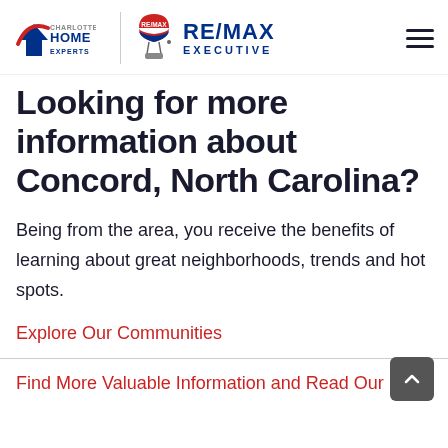[Figure (logo): Charlotte Home Experts and RE/MAX Executive combined logo with navigation hamburger menu]
Looking for more information about Concord, North Carolina?
Being from the area, you receive the benefits of learning about great neighborhoods, trends and hot spots.
Explore Our Communities
Find More Valuable Information and Read Our Blog!